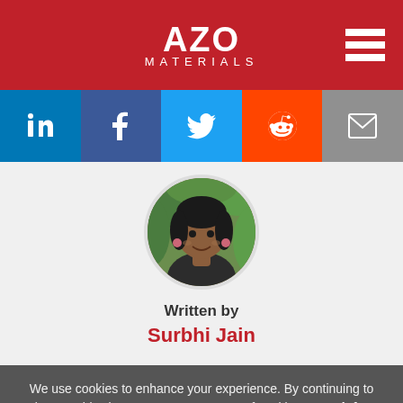[Figure (logo): AZO Materials logo in red header with white text]
[Figure (infographic): Social sharing bar with LinkedIn, Facebook, Twitter, Reddit, and Email icons]
[Figure (photo): Circular profile photo of Surbhi Jain, a young woman with dark hair, smiling outdoors]
Written by
Surbhi Jain
We use cookies to enhance your experience. By continuing to browse this site you agree to our use of cookies. More info.
✓ Accept
Cookie Settings